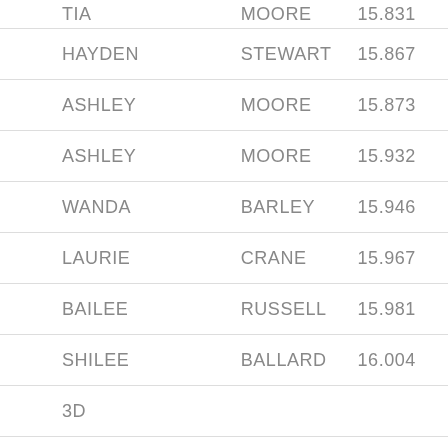| TIA | MOORE | 15.831 |
| HAYDEN | STEWART | 15.867 |
| ASHLEY | MOORE | 15.873 |
| ASHLEY | MOORE | 15.932 |
| WANDA | BARLEY | 15.946 |
| LAURIE | CRANE | 15.967 |
| BAILEE | RUSSELL | 15.981 |
| SHILEE | BALLARD | 16.004 |
| 3D |  |  |
|  |  |  |
| BAILEE | RUSSELL | 16.024 |